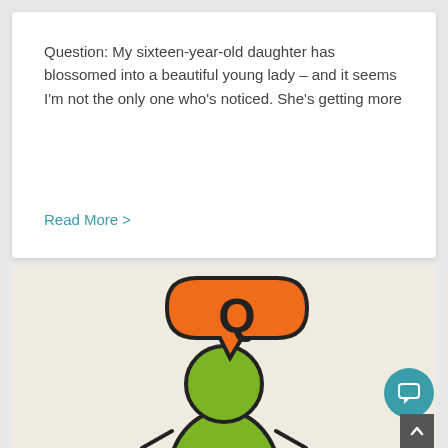Question: My sixteen-year-old daughter has blossomed into a beautiful young lady – and it seems I'm not the only one who's noticed. She's getting more
Read More >
[Figure (illustration): Illustration of a cartoon person (green body) with an orange speech bubble containing the letter Q on their head, on a beige/cream background.]